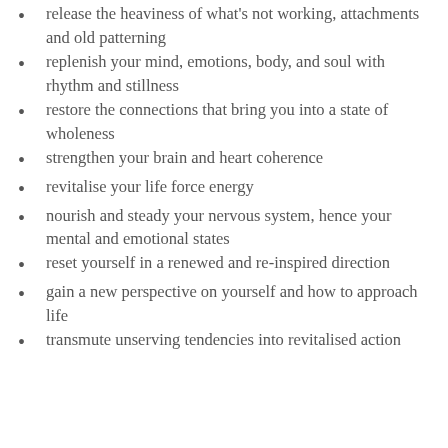release the heaviness of what's not working, attachments and old patterning
replenish your mind, emotions, body, and soul with rhythm and stillness
restore the connections that bring you into a state of wholeness
strengthen your brain and heart coherence
revitalise your life force energy
nourish and steady your nervous system, hence your mental and emotional states
reset yourself in a renewed and re-inspired direction
gain a new perspective on yourself and how to approach life
transmute unserving tendencies into revitalised action